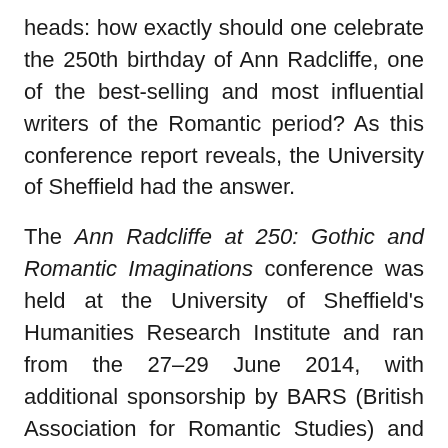heads: how exactly should one celebrate the 250th birthday of Ann Radcliffe, one of the best-selling and most influential writers of the Romantic period? As this conference report reveals, the University of Sheffield had the answer.
The Ann Radcliffe at 250: Gothic and Romantic Imaginations conference was held at the University of Sheffield's Humanities Research Institute and ran from the 27–29 June 2014, with additional sponsorship by BARS (British Association for Romantic Studies) and the University of Stirling. The principal organisers of the event were Angela Wright (Sheffield) and Dale Townshend (Stirling), who were assisted by a larger steering committee that included numerous Sheffield faculty members and postgraduate students. As well as celebrating Radcliffe's birthday, the conference also marked the launch of a ground-breaking co-edited